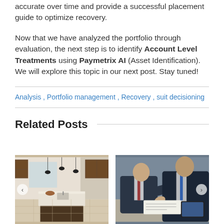accurate over time and provide a successful placement guide to optimize recovery.
Now that we have analyzed the portfolio through evaluation, the next step is to identify Account Level Treatments using Paymetrix AI (Asset Identification). We will explore this topic in our next post. Stay tuned!
Analysis , Portfolio management , Recovery , suit decisioning
Related Posts
[Figure (photo): Modern kitchen interior with pendant lights, marble island counter, wood cabinetry and open windows]
[Figure (photo): Two businessmen in suits reviewing documents at a table with a tablet device]